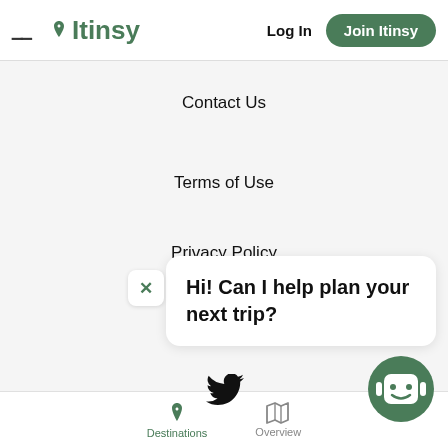Itinsy — Log In | Join Itinsy
Contact Us
Terms of Use
Privacy Policy
Hi! Can I help plan your next trip?
[Figure (logo): Twitter bird icon]
[Figure (illustration): Chatbot icon — green circle with smiley face robot]
Destinations | Overview